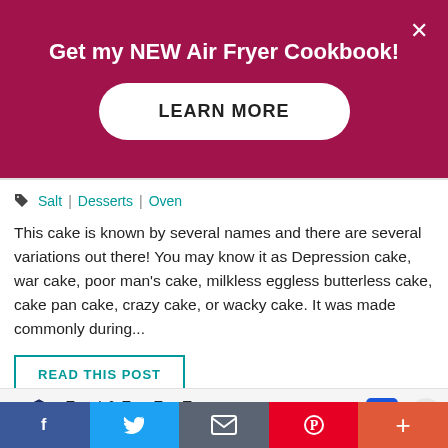Get my NEW Air Fryer Cookbook!
LEARN MORE
Salt | Desserts | Oven
This cake is known by several names and there are several variations out there! You may know it as Depression cake, war cake, poor man's cake, milkless eggless butterless cake, cake pan cake, crazy cake, or wacky cake. It was made commonly during...
READ THIS POST
Food & Fun For Everyone Topgolf
f  twitter  email  pinterest  +